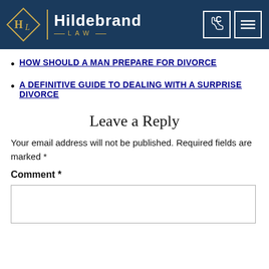[Figure (logo): Hildebrand Law firm logo with dark navy header, diamond HL monogram, firm name, phone icon and menu icon]
HOW SHOULD A MAN PREPARE FOR DIVORCE
A DEFINITIVE GUIDE TO DEALING WITH A SURPRISE DIVORCE
Leave a Reply
Your email address will not be published. Required fields are marked *
Comment *